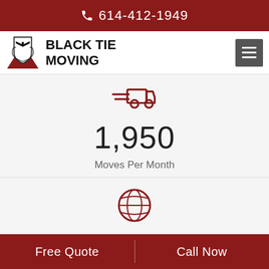614-412-1949
[Figure (logo): Black Tie Moving company logo with shield emblem and company name]
[Figure (infographic): Moving truck icon in dark red/maroon color]
1,950
Moves Per Month
[Figure (infographic): Globe/world icon in dark red/maroon color]
50k+
Total Moves
Free Quote  |  Call Now